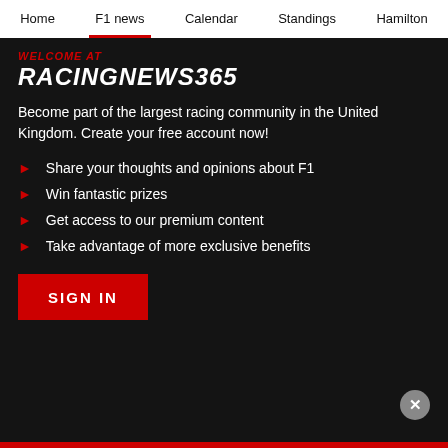Home | F1 news | Calendar | Standings | Hamilton
WELCOME AT RACINGNEWS365
Become part of the largest racing community in the United Kingdom. Create your free account now!
Share your thoughts and opinions about F1
Win fantastic prizes
Get access to our premium content
Take advantage of more exclusive benefits
SIGN IN